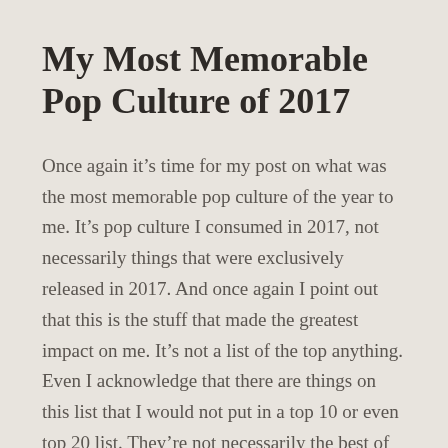My Most Memorable Pop Culture of 2017
Once again it's time for my post on what was the most memorable pop culture of the year to me. It's pop culture I consumed in 2017, not necessarily things that were exclusively released in 2017. And once again I point out that this is the stuff that made the greatest impact on me. It's not a list of the top anything. Even I acknowledge that there are things on this list that I would not put in a top 10 or even top 20 list. They're not necessarily the best of anything, just the stuff that